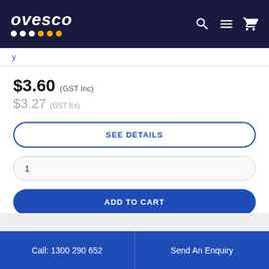ovesco
$3.60 (GST Inc)
$3.27 (GST Ex)
SEE DETAILS
1
ADD TO CART
Call: 1300 290 652 | Send An Enquiry